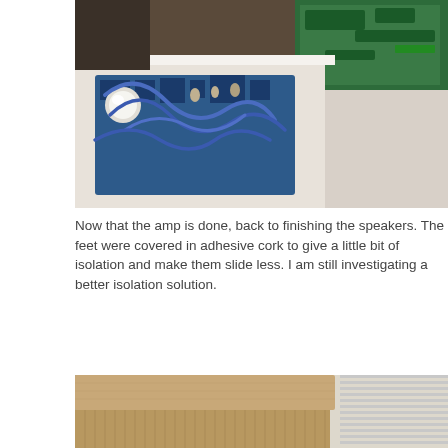[Figure (photo): Close-up photo of an amplifier circuit board inside a white enclosure, showing blue wires, capacitors, and green PCB components.]
Now that the amp is done, back to finishing the speakers. The feet were covered in adhesive cork to give a little bit of isolation and make them slide less. I am still investigating a better isolation solution.
[Figure (photo): Close-up photo of a speaker enclosure corner showing cork adhesive material applied to the base/foot area, with window blinds visible in the background.]